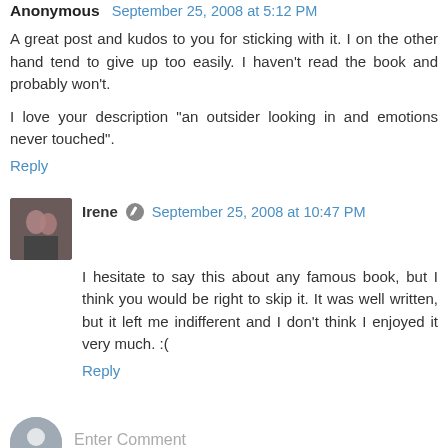Anonymous September 25, 2008 at 5:12 PM
A great post and kudos to you for sticking with it. I on the other hand tend to give up too easily. I haven't read the book and probably won't.
I love your description "an outsider looking in and emotions never touched".
Reply
Irene  September 25, 2008 at 10:47 PM
I hesitate to say this about any famous book, but I think you would be right to skip it. It was well written, but it left me indifferent and I don't think I enjoyed it very much. :(
Reply
Enter Comment